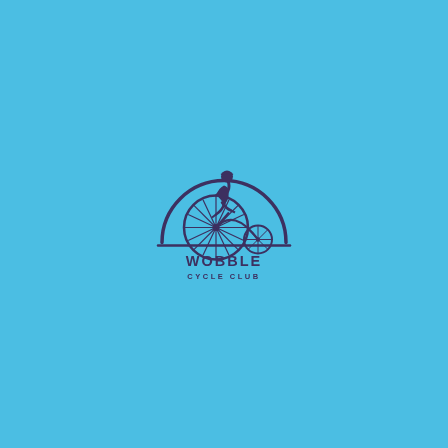[Figure (logo): Wobble Cycle Club logo: a silhouette of a person riding a penny-farthing bicycle inside a semicircular arc, with the text WOBBLE above CYCLE CLUB below, all in dark purple/indigo on a sky blue background.]